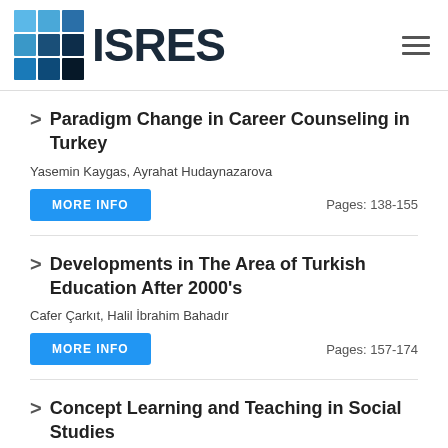ISRES
Paradigm Change in Career Counseling in Turkey
Yasemin Kaygas, Ayrahat Hudaynazarova
MORE INFO   Pages: 138-155
Developments in The Area of Turkish Education After 2000's
Cafer Çarkıt, Halil İbrahim Bahadır
MORE INFO   Pages: 157-174
Concept Learning and Teaching in Social Studies